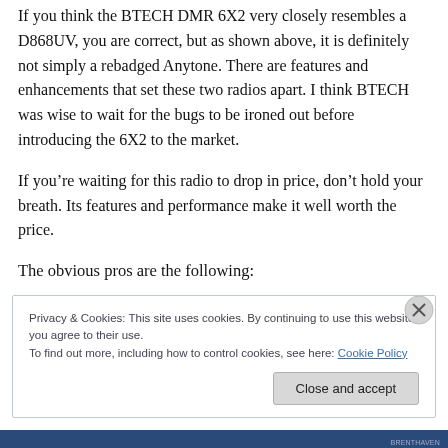If you think the BTECH DMR 6X2 very closely resembles a D868UV, you are correct, but as shown above, it is definitely not simply a rebadged Anytone. There are features and enhancements that set these two radios apart. I think BTECH was wise to wait for the bugs to be ironed out before introducing the 6X2 to the market.
If you're waiting for this radio to drop in price, don't hold your breath. Its features and performance make it well worth the price.
The obvious pros are the following:
Privacy & Cookies: This site uses cookies. By continuing to use this website, you agree to their use.
To find out more, including how to control cookies, see here: Cookie Policy